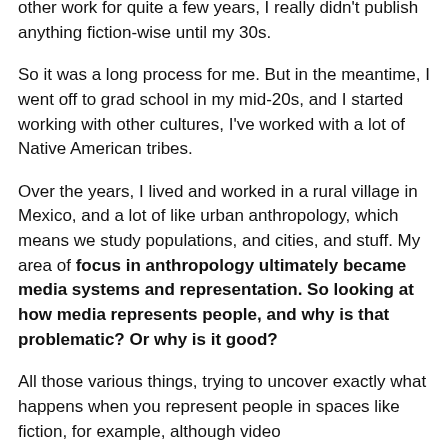other work for quite a few years, I really didn't publish anything fiction-wise until my 30s.
So it was a long process for me. But in the meantime, I went off to grad school in my mid-20s, and I started working with other cultures, I've worked with a lot of Native American tribes.
Over the years, I lived and worked in a rural village in Mexico, and a lot of like urban anthropology, which means we study populations, and cities, and stuff. My area of focus in anthropology ultimately became media systems and representation. So looking at how media represents people, and why is that problematic? Or why is it good?
All those various things, trying to uncover exactly what happens when you represent people in spaces like fiction, for example, although video...